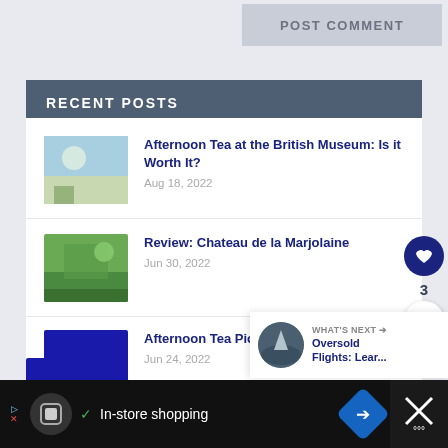POST COMMENT
RECENT POSTS
Afternoon Tea at the British Museum: Is it Worth It?
Aug 18, 2022
Review: Chateau de la Marjolaine
Jun 30, 2022
Afternoon Tea Picnic in the Cotswolds
Jun 24, 2022
WHAT'S NEXT → Oversold Flights: Lear...
In-store shopping